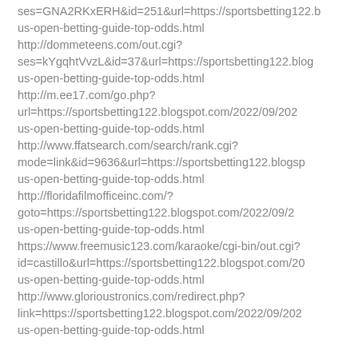ses=GNA2RKxERH&id=251&url=https://sportsbetting122.b us-open-betting-guide-top-odds.html http://dommeteens.com/out.cgi? ses=kYgqhtVvzL&id=37&url=https://sportsbetting122.blo us-open-betting-guide-top-odds.html http://m.ee17.com/go.php? url=https://sportsbetting122.blogspot.com/2022/09/202 us-open-betting-guide-top-odds.html http://www.ffatsearch.com/search/rank.cgi? mode=link&id=9636&url=https://sportsbetting122.blogsp us-open-betting-guide-top-odds.html http://floridafilmofficeinc.com/? goto=https://sportsbetting122.blogspot.com/2022/09/2 us-open-betting-guide-top-odds.html https://www.freemusic123.com/karaoke/cgi-bin/out.cgi? id=castillo&url=https://sportsbetting122.blogspot.com/20 us-open-betting-guide-top-odds.html http://www.glorioustronics.com/redirect.php? link=https://sportsbetting122.blogspot.com/2022/09/202 us-open-betting-guide-top-odds.html